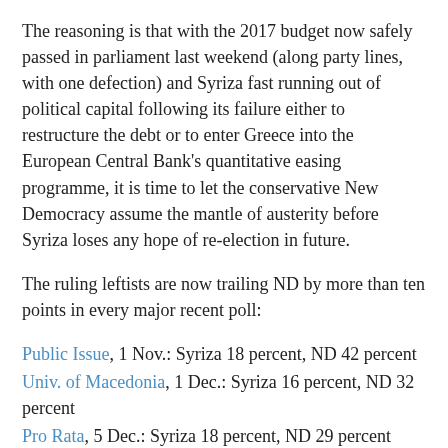The reasoning is that with the 2017 budget now safely passed in parliament last weekend (along party lines, with one defection) and Syriza fast running out of political capital following its failure either to restructure the debt or to enter Greece into the European Central Bank's quantitative easing programme, it is time to let the conservative New Democracy assume the mantle of austerity before Syriza loses any hope of re-election in future.
The ruling leftists are now trailing ND by more than ten points in every major recent poll:
Public Issue, 1 Nov.: Syriza 18 percent, ND 42 percent
Univ. of Macedonia, 1 Dec.: Syriza 16 percent, ND 32 percent
Pro Rata, 5 Dec.: Syriza 18 percent, ND 29 percent
Pulse, 6 Dec.: Syriza 18.5 percent, ND 28 percent
So the real ble mo on the part in Syriza's lead...